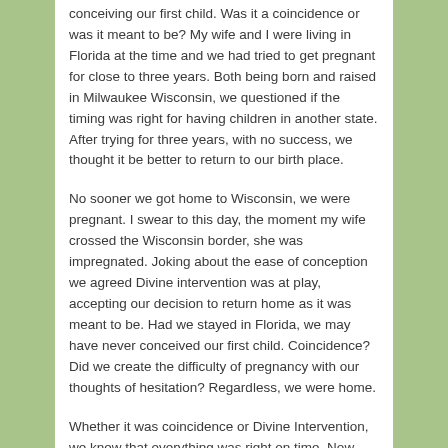conceiving our first child. Was it a coincidence or was it meant to be? My wife and I were living in Florida at the time and we had tried to get pregnant for close to three years. Both being born and raised in Milwaukee Wisconsin, we questioned if the timing was right for having children in another state. After trying for three years, with no success, we thought it be better to return to our birth place.
No sooner we got home to Wisconsin, we were pregnant. I swear to this day, the moment my wife crossed the Wisconsin border, she was impregnated. Joking about the ease of conception we agreed Divine intervention was at play, accepting our decision to return home as it was meant to be. Had we stayed in Florida, we may have never conceived our first child. Coincidence? Did we create the difficulty of pregnancy with our thoughts of hesitation? Regardless, we were home.
Whether it was coincidence or Divine Intervention, we knew that everything was right on time. Now blessed with two beautiful children, we see the world from different